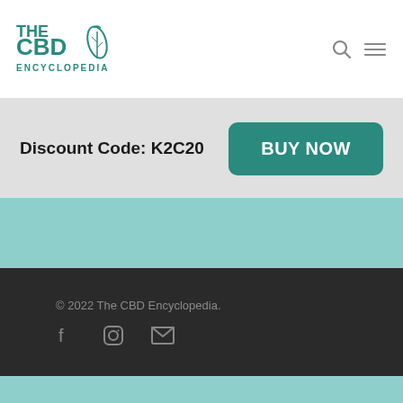THE CBD ENCYCLOPEDIA
Discount Code: K2C20
BUY NOW
thanks to only the very best. We are independently owned and the opinions expressed here are our own.
© 2022 The CBD Encyclopedia.